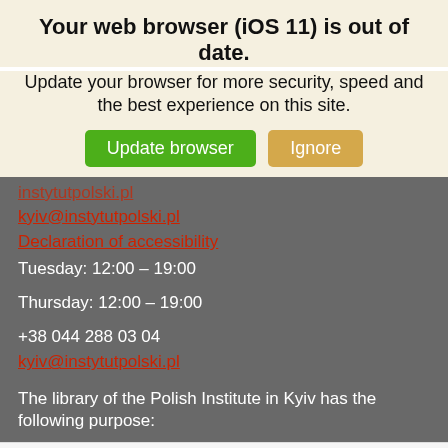Your web browser (iOS 11) is out of date.
Update your browser for more security, speed and the best experience on this site.
Update browser | Ignore
kyiv@instytutpolski.pl
Declaration of accessibility
Tuesday: 12:00 – 19:00
Thursday: 12:00 – 19:00
+38 044 288 03 04
kyiv@instytutpolski.pl
The library of the Polish Institute in Kyiv has the following purpose:
This website uses cookies to improve your experience. We'll assume you're ok with this, but you can opt-out if you wish.
Cookie settings | ACCEPT